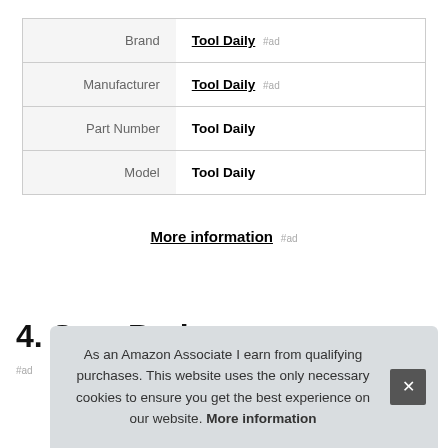| Attribute | Value |
| --- | --- |
| Brand | Tool Daily #ad |
| Manufacturer | Tool Daily #ad |
| Part Number | Tool Daily |
| Model | Tool Daily |
More information #ad
4. SocsPark
As an Amazon Associate I earn from qualifying purchases. This website uses the only necessary cookies to ensure you get the best experience on our website. More information